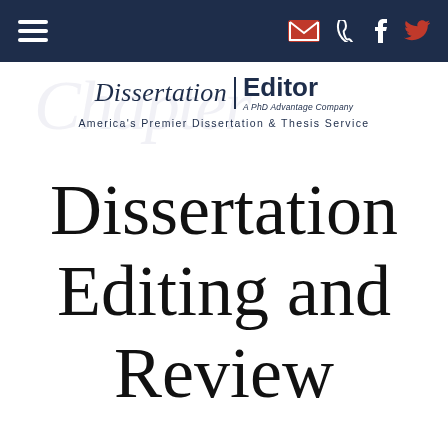Navigation bar with menu, email, phone, Facebook, Twitter icons
[Figure (logo): Dissertation Editor logo — italic 'Dissertation' | bold 'Editor', tagline 'America's Premier Dissertation & Thesis Service', watermark text 'Chapter' in background]
Dissertation Editing and Review